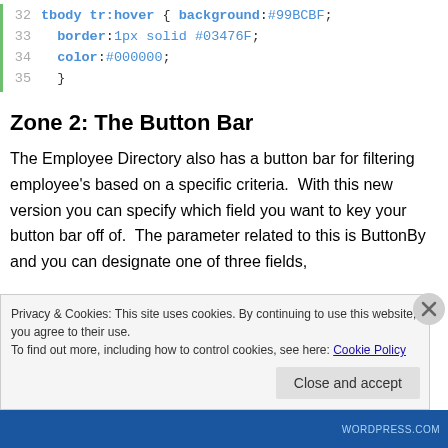[Figure (screenshot): Code block showing CSS lines 32-35: tbody tr:hover { background:#99BCBF; border:1px solid #03476F; color:#000000; }]
Zone 2: The Button Bar
The Employee Directory also has a button bar for filtering employee's based on a specific criteria.  With this new version you can specify which field you want to key your button bar off of.  The parameter related to this is ButtonBy and you can designate one of three fields,
Privacy & Cookies: This site uses cookies. By continuing to use this website, you agree to their use.
To find out more, including how to control cookies, see here: Cookie Policy
[Figure (screenshot): Close and accept button for cookie banner, and bottom navigation bar in dark blue]